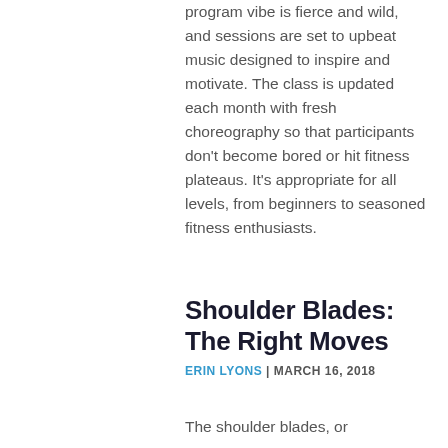program vibe is fierce and wild, and sessions are set to upbeat music designed to inspire and motivate. The class is updated each month with fresh choreography so that participants don't become bored or hit fitness plateaus. It's appropriate for all levels, from beginners to seasoned fitness enthusiasts.
Shoulder Blades: The Right Moves
ERIN LYONS | MARCH 16, 2018
The shoulder blades, or